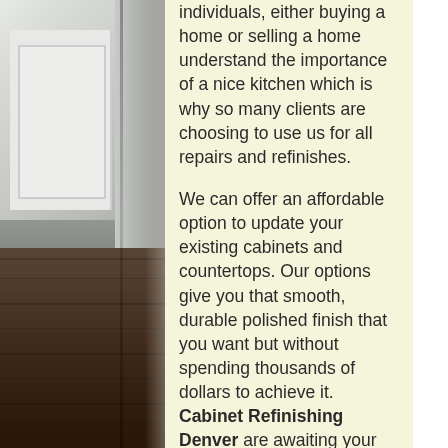[Figure (photo): Kitchen interior photo showing white cabinets, a patterned curtain, and dark hardwood floor]
individuals, either buying a home or selling a home understand the importance of a nice kitchen which is why so many clients are choosing to use us for all repairs and refinishes.

We can offer an affordable option to update your existing cabinets and countertops. Our options give you that smooth, durable polished finish that you want but without spending thousands of dollars to achieve it. Cabinet Refinishing Denver are awaiting your call!

When updating your kitchen cabinets and countertops, many